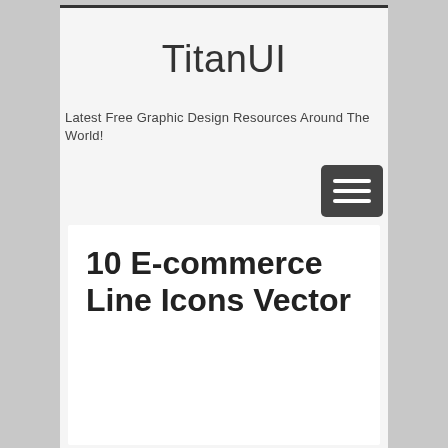TitanUI
Latest Free Graphic Design Resources Around The World!
[Figure (other): Hamburger menu button icon — three horizontal white lines on a dark rounded rectangle background]
10 E-commerce Line Icons Vector